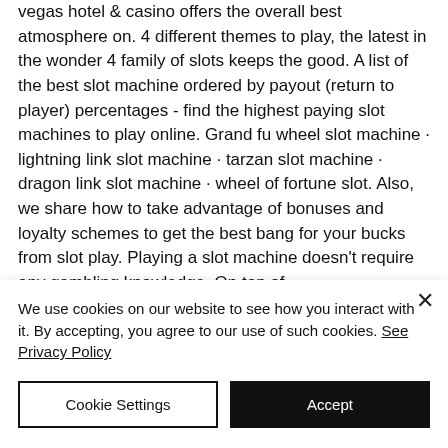vegas hotel &amp; casino offers the overall best atmosphere on. 4 different themes to play, the latest in the wonder 4 family of slots keeps the good. A list of the best slot machine ordered by payout (return to player) percentages - find the highest paying slot machines to play online. Grand fu wheel slot machine · lightning link slot machine · tarzan slot machine · dragon link slot machine · wheel of fortune slot. Also, we share how to take advantage of bonuses and loyalty schemes to get the best bang for your bucks from slot play. Playing a slot machine doesn't require any gambling knowledge. On top of
We use cookies on our website to see how you interact with it. By accepting, you agree to our use of such cookies. See Privacy Policy
Cookie Settings
Accept